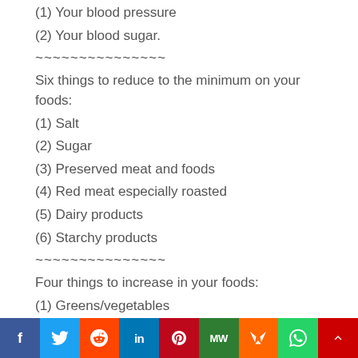(1) Your blood pressure
(2) Your blood sugar.
~~~~~~~~~~~~~~~
Six things to reduce to the minimum on your foods:
(1) Salt
(2) Sugar
(3) Preserved meat and foods
(4) Red meat especially roasted
(5) Dairy products
(6) Starchy products
~~~~~~~~~~~~~~~
Four things to increase in your foods:
(1) Greens/vegetables
(2) Beans
(3) Fruits